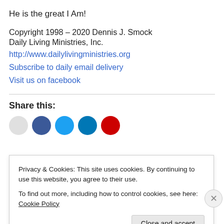He is the great I Am!
Copyright 1998 – 2020 Dennis J. Smock
Daily Living Ministries, Inc.
http://www.dailylivingministries.org
Subscribe to daily email delivery
Visit us on facebook
Share this:
Privacy & Cookies: This site uses cookies. By continuing to use this website, you agree to their use.
To find out more, including how to control cookies, see here: Cookie Policy
Close and accept